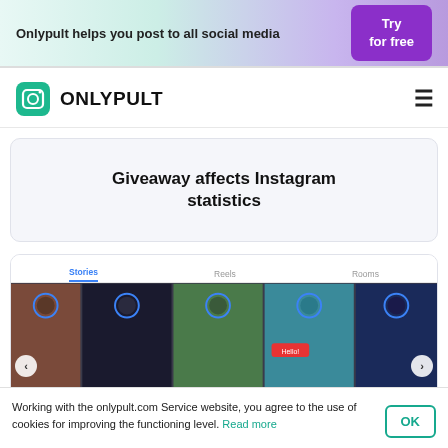Onlypult helps you post to all social media | Try for free
[Figure (logo): Onlypult logo with teal camera icon and bold text ONLYPULT]
Giveaway affects Instagram statistics
[Figure (screenshot): Instagram Stories interface showing Stories, Reels, Rooms tabs with story thumbnails and navigation arrows]
Working with the onlypult.com Service website, you agree to the use of cookies for improving the functioning level. Read more